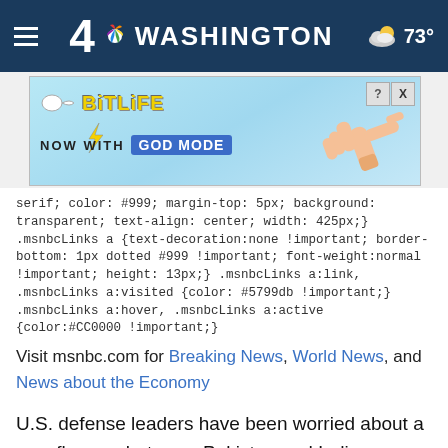4 NBC WASHINGTON   73°
[Figure (screenshot): BitLife advertisement banner: 'BitLife NOW WITH GOD MODE' with hand pointing graphic on light blue background, with close buttons]
serif; color: #999; margin-top: 5px; background: transparent; text-align: center; width: 425px;} .msnbcLinks a {text-decoration:none !important; border-bottom: 1px dotted #999 !important; font-weight:normal !important; height: 13px;} .msnbcLinks a:link, .msnbcLinks a:visited {color: #5799db !important;} .msnbcLinks a:hover, .msnbcLinks a:active {color:#CC0000 !important;}
Visit msnbc.com for Breaking News, World News, and News about the Economy
U.S. defense leaders have been worried about a new flare-up between Pakistan and India ever since the coordinated terror attacks in India's financial capital of Mumbai last month that killed 164 people.